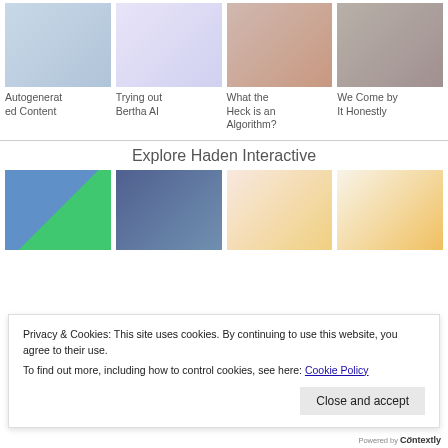[Figure (photo): Hands typing on laptop]
[Figure (illustration): Robot illustration - Bertha AI]
[Figure (photo): Pink umbrella in autumn leaves]
[Figure (photo): Person writing at desk, sepia tone]
Autogenerated Content
Trying out Bertha AI
What the Heck is an Algorithm?
We Come by It Honestly
Explore Haden Interactive
[Figure (photo): Stock market chart with upward arrows]
[Figure (photo): Hands holding smartphone]
[Figure (infographic): Meta description graphic with orange circle]
[Figure (infographic): Problem solving infographic]
Privacy & Cookies: This site uses cookies. By continuing to use this website, you agree to their use.
To find out more, including how to control cookies, see here: Cookie Policy
Close and accept
Powered by Cöntextly